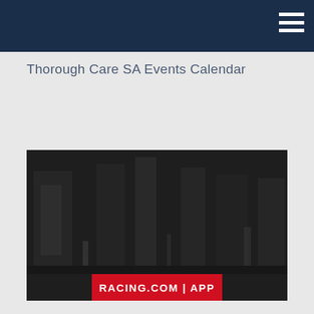Thorough Care SA Events Calendar
[Figure (screenshot): Dark screenshot of a racing venue/track environment with a red banner overlay reading 'RACING.COM | APP']